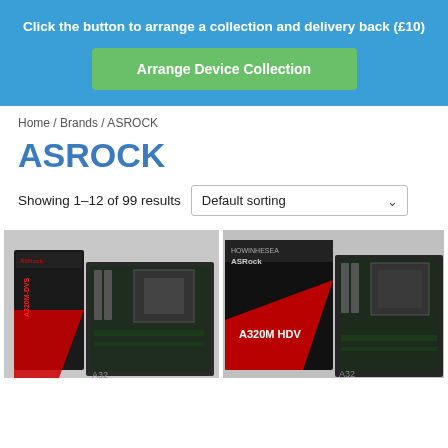Click the button to arrange a collection and delivery back (£10)
Arrange Device Collection
Home / Brands / ASROCK
ASROCK
Showing 1–12 of 99 results   Default sorting
[Figure (photo): Two ASRock motherboard products shown: left product is A320M-DVS box and board, right product is A320M-HDV box and board]
[Figure (photo): ASRock A320M-HDV box and motherboard on right side]